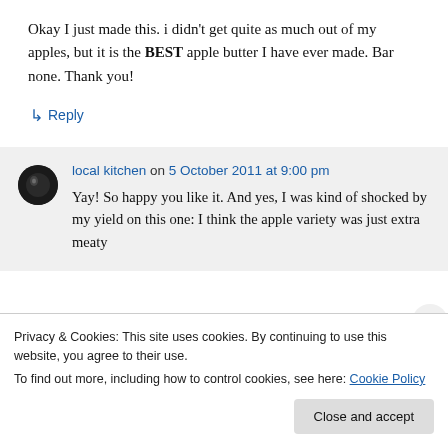Okay I just made this. i didn't get quite as much out of my apples, but it is the BEST apple butter I have ever made. Bar none. Thank you!
↳ Reply
local kitchen on 5 October 2011 at 9:00 pm
Yay! So happy you like it. And yes, I was kind of shocked by my yield on this one: I think the apple variety was just extra meaty
Privacy & Cookies: This site uses cookies. By continuing to use this website, you agree to their use.
To find out more, including how to control cookies, see here: Cookie Policy
Close and accept